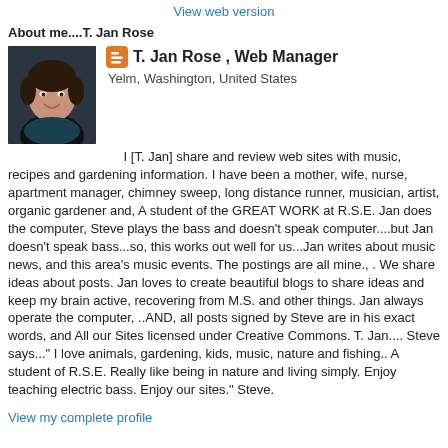View web version
About me....T. Jan Rose
[Figure (photo): Profile photo of T. Jan Rose, a woman with short dark hair, smiling, wearing a dark top against a dark background.]
T. Jan Rose , Web Manager
Yelm, Washington, United States
I [T. Jan] share and review web sites with music, recipes and gardening information. I have been a mother, wife, nurse, apartment manager, chimney sweep, long distance runner, musician, artist, organic gardener and, A student of the GREAT WORK at R.S.E. Jan does the computer, Steve plays the bass and doesn't speak computer....but Jan doesn't speak bass...so, this works out well for us...Jan writes about music news, and this area's music events. The postings are all mine., . We share ideas about posts. Jan loves to create beautiful blogs to share ideas and keep my brain active, recovering from M.S. and other things. Jan always operate the computer, ..AND, all posts signed by Steve are in his exact words, and All our Sites licensed under Creative Commons. T. Jan.... Steve says..." I love animals, gardening, kids, music, nature and fishing.. A student of R.S.E. Really like being in nature and living simply. Enjoy teaching electric bass. Enjoy our sites." Steve.
View my complete profile